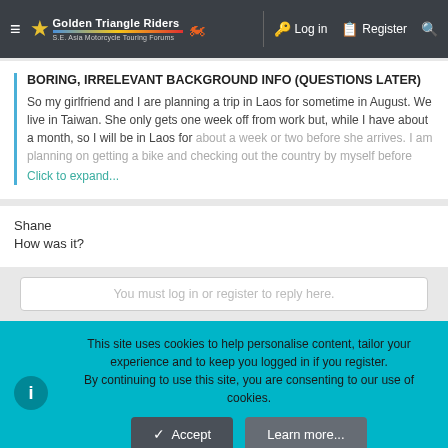Golden Triangle Riders | S.E. Asia Motorcycle Touring Forums | Log in | Register
BORING, IRRELEVANT BACKGROUND INFO (QUESTIONS LATER)
So my girlfriend and I are planning a trip in Laos for sometime in August. We live in Taiwan. She only gets one week off from work but, while I have about a month, so I will be in Laos for about a week or two before she arrives. I am planning on getting a bike and checking out the country by myself before ... Click to expand...
Shane
How was it?
You must log in or register to reply here.
This site uses cookies to help personalise content, tailor your experience and to keep you logged in if you register.
By continuing to use this site, you are consenting to our use of cookies.